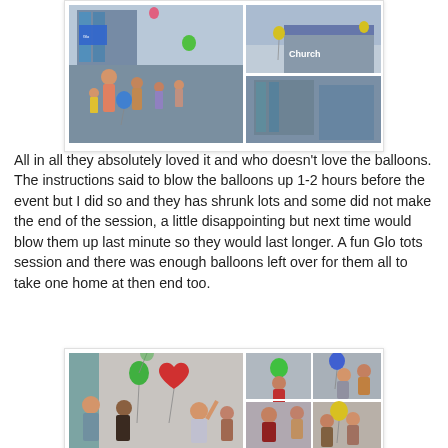[Figure (photo): Photo collage of children and adults outdoors in front of a church building, releasing or playing with colorful balloons]
All in all they absolutely loved it and who doesn't love the balloons. The instructions said to blow the balloons up 1-2 hours before the event but I did so and they has shrunk lots and some did not make the end of the session, a little disappointing but next time would blow them up last minute so they would last longer. A fun Glo tots session and there was enough balloons left over for them all to take one home at then end too.
[Figure (photo): Photo collage of young children indoors playing with colorful balloons including red heart-shaped, green, and yellow balloons]